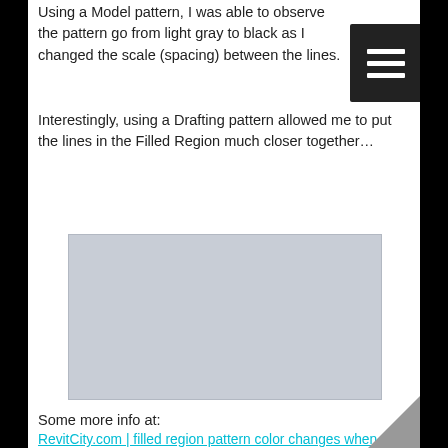Using a Model pattern, I was able to observe the pattern go from light gray to black as I changed the scale (spacing) between the lines.
Interestingly, using a Drafting pattern allowed me to put the lines in the Filled Region much closer together…
[Figure (other): Light gray rectangular image placeholder representing a drafting pattern screenshot]
Some more info at:
RevitCity.com | filled region pattern color changes when drawing scale changes